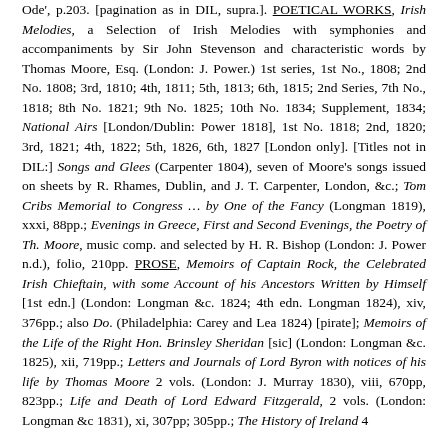Ode', p.203. [pagination as in DIL, supra.]. POETICAL WORKS, Irish Melodies, a Selection of Irish Melodies with symphonies and accompaniments by Sir John Stevenson and characteristic words by Thomas Moore, Esq. (London: J. Power.) 1st series, 1st No., 1808; 2nd No. 1808; 3rd, 1810; 4th, 1811; 5th, 1813; 6th, 1815; 2nd Series, 7th No., 1818; 8th No. 1821; 9th No. 1825; 10th No. 1834; Supplement, 1834; National Airs [London/Dublin: Power 1818], 1st No. 1818; 2nd, 1820; 3rd, 1821; 4th, 1822; 5th, 1826, 6th, 1827 [London only]. [Titles not in DIL:] Songs and Glees (Carpenter 1804), seven of Moore's songs issued on sheets by R. Rhames, Dublin, and J. T. Carpenter, London, &c.; Tom Cribs Memorial to Congress … by One of the Fancy (Longman 1819), xxxi, 88pp.; Evenings in Greece, First and Second Evenings, the Poetry of Th. Moore, music comp. and selected by H. R. Bishop (London: J. Power n.d.), folio, 210pp. PROSE, Memoirs of Captain Rock, the Celebrated Irish Chieftain, with some Account of his Ancestors Written by Himself [1st edn.] (London: Longman &c. 1824; 4th edn. Longman 1824), xiv, 376pp.; also Do. (Philadelphia: Carey and Lea 1824) [pirate]; Memoirs of the Life of the Right Hon. Brinsley Sheridan [sic] (London: Longman &c. 1825), xii, 719pp.; Letters and Journals of Lord Byron with notices of his life by Thomas Moore 2 vols. (London: J. Murray 1830), viii, 670pp, 823pp.; Life and Death of Lord Edward Fitzgerald, 2 vols. (London: Longman &c 1831), xi, 307pp; 305pp.; The History of Ireland 4